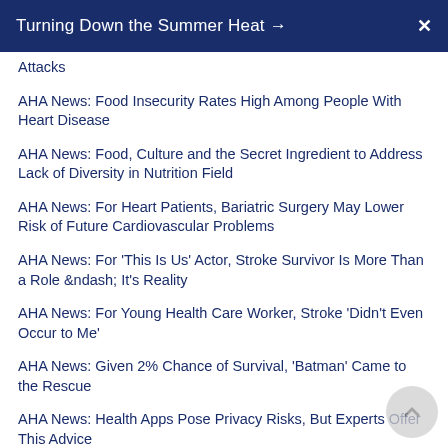Turning Down the Summer Heat → X
Attacks
AHA News: Food Insecurity Rates High Among People With Heart Disease
AHA News: Food, Culture and the Secret Ingredient to Address Lack of Diversity in Nutrition Field
AHA News: For Heart Patients, Bariatric Surgery May Lower Risk of Future Cardiovascular Problems
AHA News: For 'This Is Us' Actor, Stroke Survivor Is More Than a Role &ndash; It's Reality
AHA News: For Young Health Care Worker, Stroke 'Didn't Even Occur to Me'
AHA News: Given 2% Chance of Survival, 'Batman' Came to the Rescue
AHA News: Health Apps Pose Privacy Risks, But Experts Offer This Advice